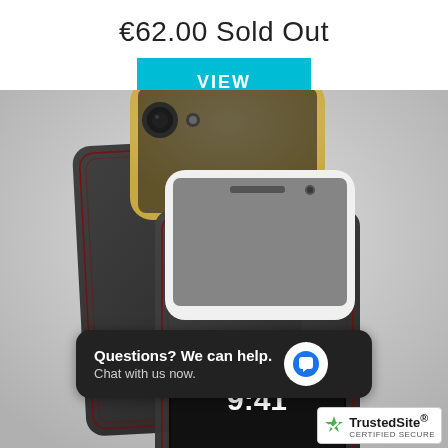€62.00 Sold Out
VIEW
[Figure (photo): Black leather phone cases/pouches with red stitching holding gold and silver iPhones, with a third case showing a phone screen displaying 9:41]
Questions? We can help. Chat with us now.
[Figure (logo): TrustedSite CERTIFIED SECURE badge with green checkmark]